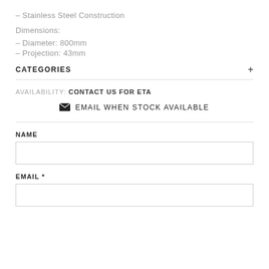– Stainless Steel Construction
Dimensions:
– Diameter: 800mm
– Projection: 43mm
CATEGORIES +
AVAILABILITY: CONTACT US FOR ETA
✉ EMAIL WHEN STOCK AVAILABLE
NAME
EMAIL *